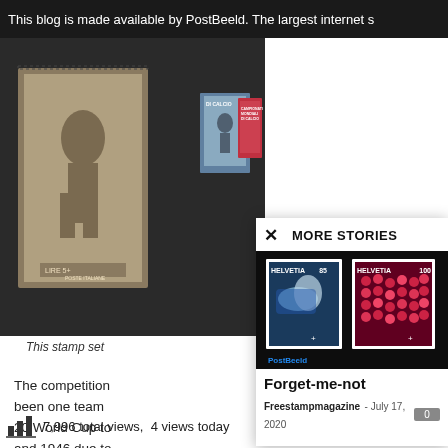This blog is made available by PostBeeld. The largest internet s
[Figure (photo): Vintage Italian postage stamps showing football/soccer players, including stamps labeled 'DI CALCIO', 'LIRE 5+', 'POSTE ITALIANE', and a red stamp reading 'CAMPIONATI MONDIALI DI CALCIO']
This stamp set
The competition been one team 20 World Cup to and 1946 due to national teams. times each; Arg each; and Engl
[Figure (photo): MORE STORIES panel showing two Helvetia Swiss stamps (85 and 100 values) featuring nature photography — one showing a fish/marine creature on blue background, one showing red berries/seeds]
Forget-me-not
Freestampmagazine - July 17, 2020
7,996 total views,  4 views today